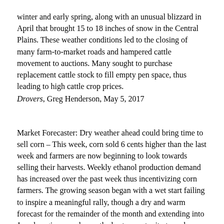winter and early spring, along with an unusual blizzard in April that brought 15 to 18 inches of snow in the Central Plains. These weather conditions led to the closing of many farm-to-market roads and hampered cattle movement to auctions. Many sought to purchase replacement cattle stock to fill empty pen space, thus leading to high cattle crop prices. Drovers, Greg Henderson, May 5, 2017
Market Forecaster: Dry weather ahead could bring time to sell corn – This week, corn sold 6 cents higher than the last week and farmers are now beginning to look towards selling their harvests. Weekly ethanol production demand has increased over the past week thus incentivizing corn farmers. The growing season began with a wet start failing to inspire a meaningful rally, though a dry and warm forecast for the remainder of the month and extending into June has given producers the best opportunity to make sales as prices surge with this continued weather pattern. Tri-State Neighbor, Brian Hoops, May 8, 2017
Texas Crop and Weather Report -- May 9 – Pest populations are rising throughout the state. Due to the unusually warm